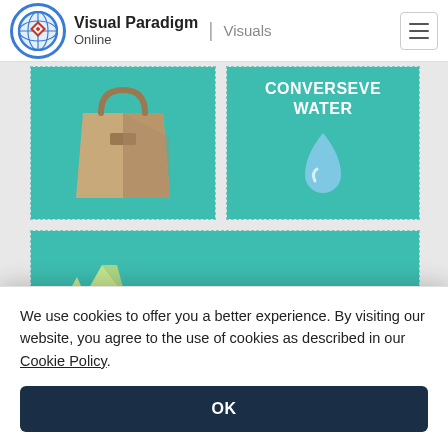Visual Paradigm Online | Visuals
[Figure (infographic): Infographic with teal grid cells: a cardboard bag icon (reuse/shopping bag), and a water drop icon with text 'CONVERSEVE WATER', and a recycling symbol with text 'REDUCE. REUSE.' partially visible]
We use cookies to offer you a better experience. By visiting our website, you agree to the use of cookies as described in our Cookie Policy.
OK